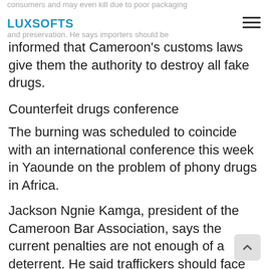consumers and may even kill due to poor packaging and preservation. He says importers should be
LUXSOFTS
informed that Cameroon's customs laws give them the authority to destroy all fake drugs.
Counterfeit drugs conference
The burning was scheduled to coincide with an international conference this week in Yaounde on the problem of phony drugs in Africa.
Jackson Ngnie Kamga, president of the Cameroon Bar Association, says the current penalties are not enough of a deterrent. He said traffickers should face jail time.
He says because of its deadly consequences, it is high time for Cameroon to join African states to start considering the transportation and commercialization